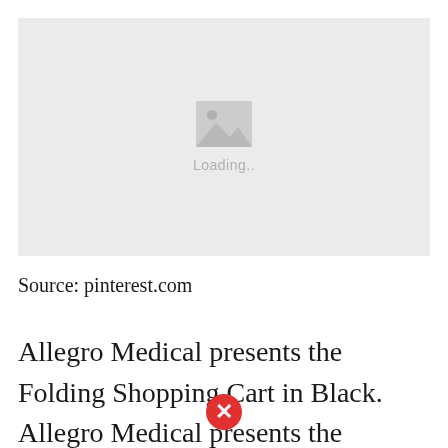[Figure (photo): Image placeholder with a grey background, showing a mountain/image icon and the text 'Loading..' below it, indicating the image failed to load.]
Source: pinterest.com
Allegro Medical presents the Folding Shopping Cart in Black. Allegro Medical presents the Folding Shopping Cart in Black